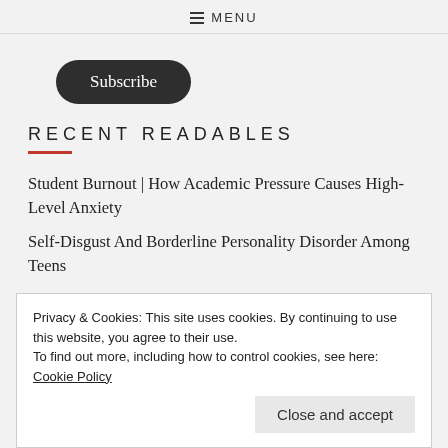≡ MENU
Subscribe
RECENT READABLES
Student Burnout | How Academic Pressure Causes High-Level Anxiety
Self-Disgust And Borderline Personality Disorder Among Teens
The Power of Deep Curiosity and The Fear of Asking
Privacy & Cookies: This site uses cookies. By continuing to use this website, you agree to their use.
To find out more, including how to control cookies, see here: Cookie Policy
Close and accept